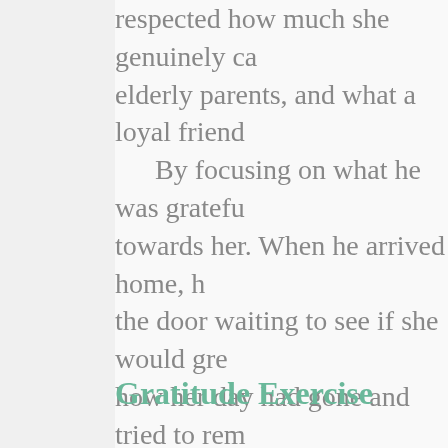respected how much she genuinely ca elderly parents, and what a loyal friend By focusing on what he was gratefu towards her. When he arrived home, h the door waiting to see if she would gre how her day had gone and tried to rem coming home and, unsurprisingly, gree Through cultivating gratefulness for h love, and his effulgence had brought th making a shift within himself could brin The point of relating this story is to d peace or, love, or gratitude, we natural
Gratitude Exercise